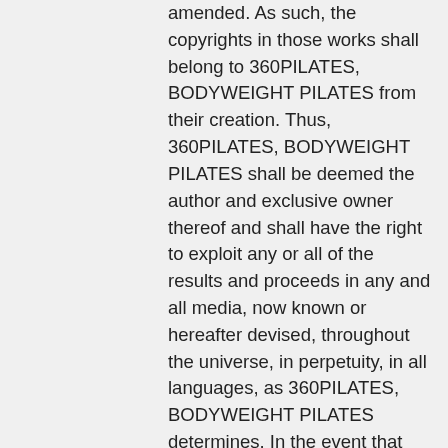amended. As such, the copyrights in those works shall belong to 360PILATES, BODYWEIGHT PILATES from their creation. Thus, 360PILATES, BODYWEIGHT PILATES shall be deemed the author and exclusive owner thereof and shall have the right to exploit any or all of the results and proceeds in any and all media, now known or hereafter devised, throughout the universe, in perpetuity, in all languages, as 360PILATES, BODYWEIGHT PILATES determines. In the event that any of the results and proceeds of your submissions hereunder are not deemed a “work made for hire” under Section 101 of the Copyright Act, as amended, you hereby, without additional compensation, irrevocably assign, convey and transfer to 360PILATES, BODYWEIGHT PILATES all proprietary rights, including without limitation, all copyrights and trademarks throughout the universe, in perpetuity in every